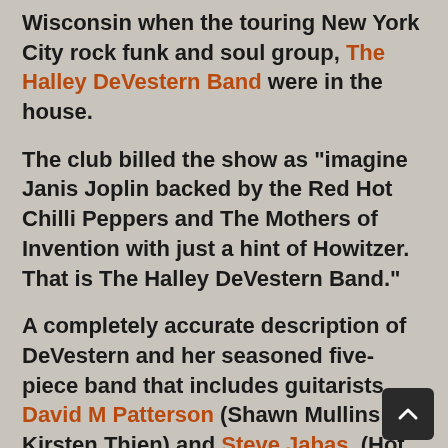Wisconsin when the touring New York City rock funk and soul group, The Halley DeVestern Band were in the house.
The club billed the show as "imagine Janis Joplin backed by the Red Hot Chilli Peppers and The Mothers of Invention with just a hint of Howitzer. That is The Halley DeVestern Band."
A completely accurate description of DeVestern and her seasoned five-piece band that includes guitarists David M Patterson (Shawn Mullins , Kirsten Thien) and Steve Jabas, (Hot Peas 'N Butter) and the rhythm section of drummer Rich Kulsar (Roger Waters, the Zen Tricksters, Mickey Dolenz) and Tom Heinig (Lamont Cranston Band, Mill City Band) on bass, all of whom have the musical muscle and dexterity to back her up...